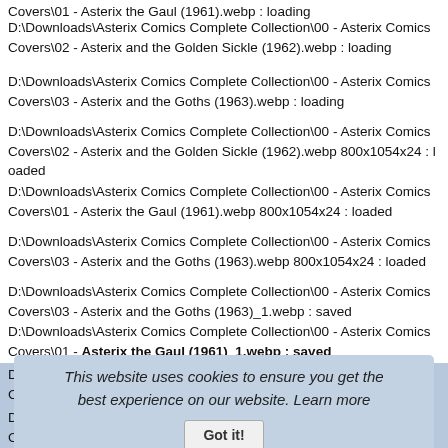Covers\01 - Asterix the Gaul (1961).webp : loading
D:\Downloads\Asterix Comics Complete Collection\00 - Asterix Comics Covers\02 - Asterix and the Golden Sickle (1962).webp : loading
D:\Downloads\Asterix Comics Complete Collection\00 - Asterix Comics Covers\03 - Asterix and the Goths (1963).webp : loading
D:\Downloads\Asterix Comics Complete Collection\00 - Asterix Comics Covers\02 - Asterix and the Golden Sickle (1962).webp 800x1054x24 : loaded
D:\Downloads\Asterix Comics Complete Collection\00 - Asterix Comics Covers\01 - Asterix the Gaul (1961).webp 800x1054x24 : loaded
D:\Downloads\Asterix Comics Complete Collection\00 - Asterix Comics Covers\03 - Asterix and the Goths (1963).webp 800x1054x24 : loaded
D:\Downloads\Asterix Comics Complete Collection\00 - Asterix Comics Covers\03 - Asterix and the Goths (1963)_1.webp : saved
D:\Downloads\Asterix Comics Complete Collection\00 - Asterix Comics Covers\01 - Asterix the Gaul (1961)_1.webp : saved
D:\Downloads\Asterix Comics Complete Collection\00 - Asterix Comics Covers\02 - Asterix and the Golden Sickle (1962)_1.webp : saved
D:\Downloads\Asterix Comics Complete Collection\00 - Asterix Comics Covers\00 - Asterix Complete Collection Preview by Doc MaKS BIG.webp 3200x2108x24 : loaded
D:\Downloads\Asterix Comics Complete Collection\00 - Asterix Comics Covers\00 - Asterix Complete Collection Preview by Doc MaKS BIG_1.webp : saved
This website uses cookies to ensure you get the best experience on our website. Learn more
Got it!